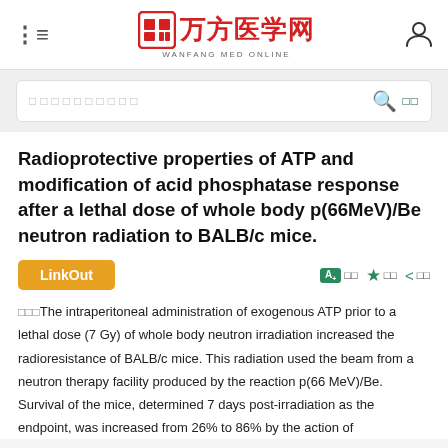万方医学网 WANFANG MED ONLINE
Radioprotective properties of ATP and modification of acid phosphatase response after a lethal dose of whole body p(66MeV)/Be neutron radiation to BALB/c mice.
LinkOut  A+ 调字  ★ 收藏  < 分享
摘要The intraperitoneal administration of exogenous ATP prior to a lethal dose (7 Gy) of whole body neutron irradiation increased the radioresistance of BALB/c mice. This radiation used the beam from a neutron therapy facility produced by the reaction p(66 MeV)/Be. Survival of the mice, determined 7 days post-irradiation as the endpoint, was increased from 26% to 86% by the action of